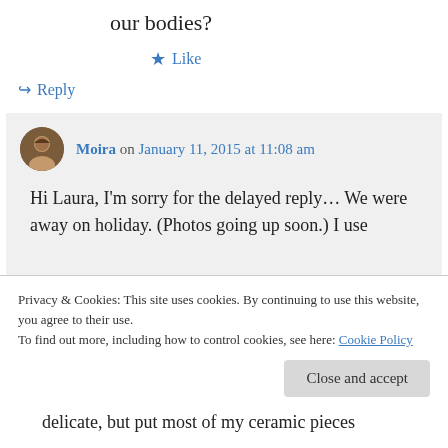our bodies?
★ Like
↪ Reply
Moira on January 11, 2015 at 11:08 am
Hi Laura, I'm sorry for the delayed reply… We were away on holiday. (Photos going up soon.) I use Method Smarty Dish dishwashing tablets. They're phosphate
Privacy & Cookies: This site uses cookies. By continuing to use this website, you agree to their use.
To find out more, including how to control cookies, see here: Cookie Policy
Close and accept
delicate, but put most of my ceramic pieces